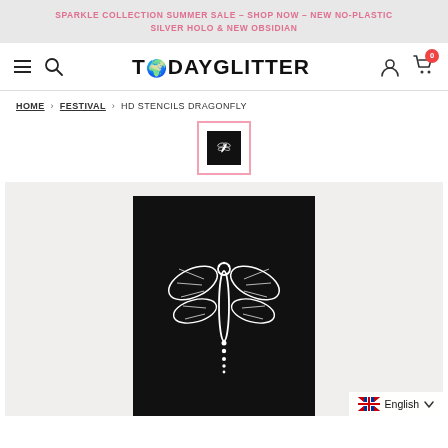SPARKLE COLLECTION SUMMER SALE – SHOP NOW – NEW NO-PLASTIC SILVER HOLO & NEW OBSIDIAN
[Figure (screenshot): Website navigation bar with hamburger menu, search icon, TODAYGLITTER logo, user account icon, and cart icon with badge showing 0]
HOME › FESTIVAL › HD STENCILS DRAGONFLY
[Figure (photo): Small thumbnail of dragonfly stencil product on black background, inside a pink-bordered box]
[Figure (photo): Main product image: white dragonfly stencil design on a black background card]
English